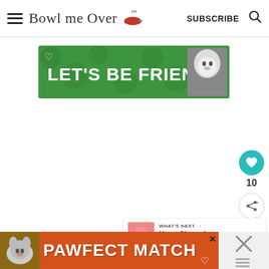Bowl me Over — SUBSCRIBE
[Figure (screenshot): Green advertisement banner reading LET'S BE FRIENDS with a husky dog image on the right and a heart icon on the left]
10
WHAT'S NEXT → Heart Shaped Rice Krispie...
Recommended
[Figure (screenshot): Orange advertisement banner at bottom reading PAWFECT MATCH with a cat image on the left]